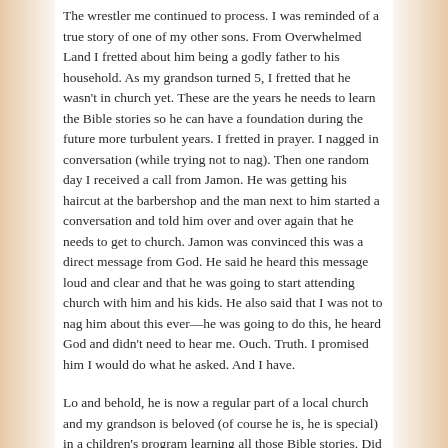The wrestler me continued to process. I was reminded of a true story of one of my other sons. From Overwhelmed Land I fretted about him being a godly father to his household. As my grandson turned 5, I fretted that he wasn't in church yet. These are the years he needs to learn the Bible stories so he can have a foundation during the future more turbulent years. I fretted in prayer. I nagged in conversation (while trying not to nag). Then one random day I received a call from Jamon. He was getting his haircut at the barbershop and the man next to him started a conversation and told him over and over again that he needs to get to church. Jamon was convinced this was a direct message from God. He said he heard this message loud and clear and that he was going to start attending church with him and his kids. He also said that I was not to nag him about this ever—he was going to do this, he heard God and didn't need to hear me. Ouch. Truth. I promised him I would do what he asked. And I have.
Lo and behold, he is now a regular part of a local church and my grandson is beloved (of course he is, he is special) in a children's program learning all those Bible stories. Did anything I did in Overwhelmed Land lead to this? Not really, except my persistent prayers which I know were heard. God was big enough to use some guy